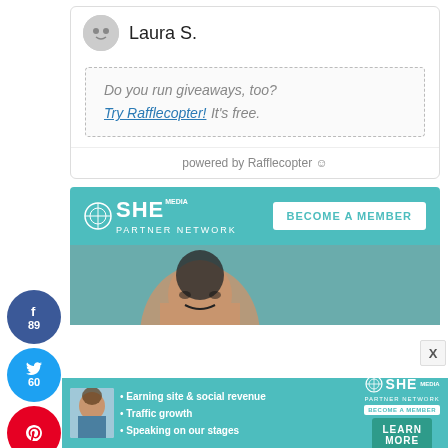[Figure (screenshot): Social sharing sidebar with Facebook (89), Twitter (60), Pinterest buttons and 149 SHARES count]
Laura S.
Do you run giveaways, too? Try Rafflecopter! It's free.
powered by Rafflecopter
[Figure (infographic): SHE Media Partner Network banner with BECOME A MEMBER button and photo of smiling woman]
[Figure (infographic): Bottom SHE Media ad bar: Earning site & social revenue, Traffic growth, Speaking on our stages, LEARN MORE button]